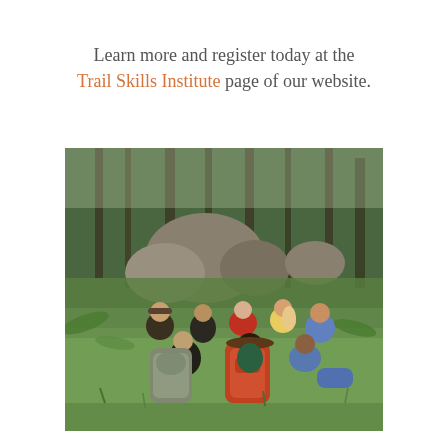Learn more and register today at the Trail Skills Institute page of our website.
[Figure (photo): Group of young people sitting in a circle in a forest clearing with backpacks and gear, surrounded by green grass, ferns, rocks, and trees.]